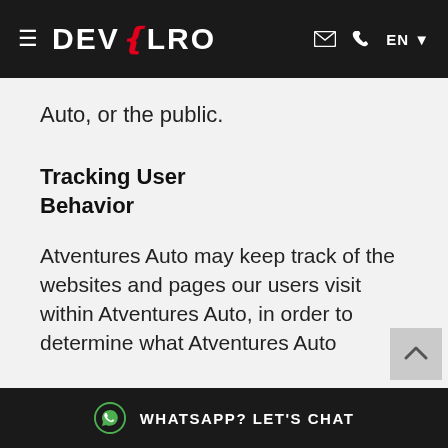≡ DEVELRO EN ▼
Auto, or the public.
Tracking User Behavior
Atventures Auto may keep track of the websites and pages our users visit within Atventures Auto, in order to determine what Atventures Auto
WHATSAPP? LET'S CHAT